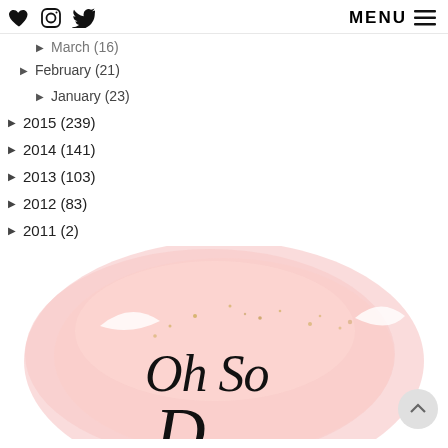MENU ☰
► March (16)
► February (21)
► January (23)
► 2015 (239)
► 2014 (141)
► 2013 (103)
► 2012 (83)
► 2011 (2)
[Figure (illustration): Pink watercolor blob with gold speckles and cursive text reading 'Oh So' and partial 'D' below, forming a blog logo]